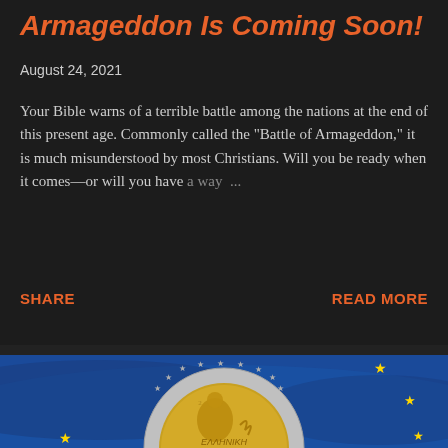Armageddon Is Coming Soon!
August 24, 2021
Your Bible warns of a terrible battle among the nations at the end of this present age. Commonly called the "Battle of Armageddon," it is much misunderstood by most Christians. Will you be ready when it comes—or will you have a way ...
SHARE
READ MORE
[Figure (photo): A 2 euro coin with a Greek design (Europa/Aphrodite figure with text EAAHNIKH) displayed against a blue European Union flag background with yellow stars.]